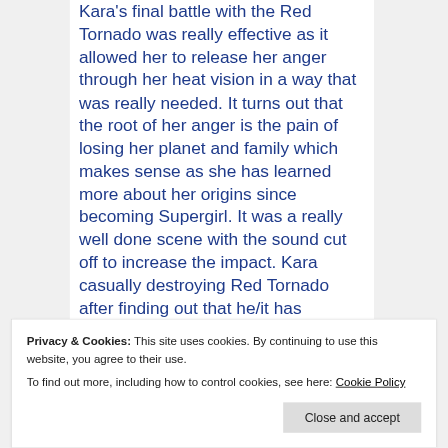Kara's final battle with the Red Tornado was really effective as it allowed her to release her anger through her heat vision in a way that was really needed. It turns out that the root of her anger is the pain of losing her planet and family which makes sense as she has learned more about her origins since becoming Supergirl. It was a really well done scene with the sound cut off to increase the impact. Kara casually destroying Red Tornado after finding out that he/it has become sentient is pretty questionable though.
General Sam Lane's appearance works
Privacy & Cookies: This site uses cookies. By continuing to use this website, you agree to their use.
To find out more, including how to control cookies, see here: Cookie Policy
Close and accept
information about their involvement in